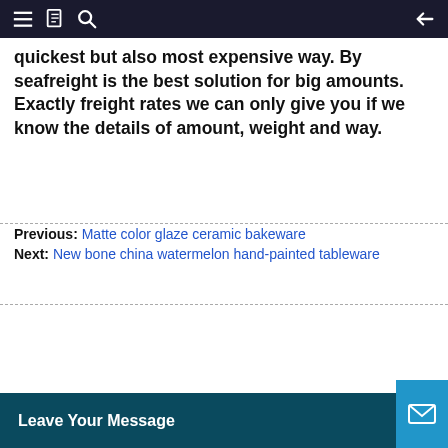Navigation bar with menu, bookmark, search, and back icons
quickest but also most expensive way. By seafreight is the best solution for big amounts. Exactly freight rates we can only give you if we know the details of amount, weight and way.
Previous: Matte color glaze ceramic bakeware
Next: New bone china watermelon hand-painted tableware
Leave Your Message